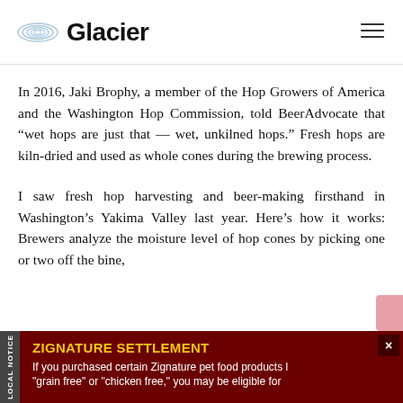Glacier
In 2016, Jaki Brophy, a member of the Hop Growers of America and the Washington Hop Commission, told BeerAdvocate that “wet hops are just that — wet, unkilned hops.” Fresh hops are kiln-dried and used as whole cones during the brewing process.
I saw fresh hop harvesting and beer-making firsthand in Washington’s Yakima Valley last year. Here’s how it works: Brewers analyze the moisture level of hop cones by picking one or two off the bine,
[Figure (other): Advertisement banner for Zignature Settlement legal notice with dark red background, yellow title text and white body text]